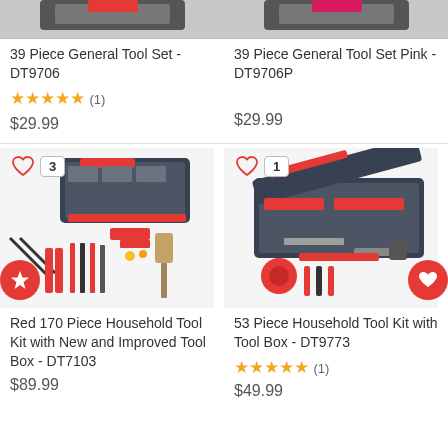[Figure (photo): Partial top of 39 Piece General Tool Set DT9706 product image cropped at top]
39 Piece General Tool Set - DT9706
★★★★★ (1)
$29.99
[Figure (photo): Partial top of 39 Piece General Tool Set Pink DT9706P product image cropped at top]
39 Piece General Tool Set Pink - DT9706P
$29.99
[Figure (photo): Red 170 Piece Household Tool Kit with New and Improved Tool Box DT7103, showing toolbox and spread of tools]
Red 170 Piece Household Tool Kit with New and Improved Tool Box - DT7103
$89.99
[Figure (photo): 53 Piece Household Tool Kit with Tool Box DT9773, showing open toolbox with red and black tools]
53 Piece Household Tool Kit with Tool Box - DT9773
★★★★★ (1)
$49.99